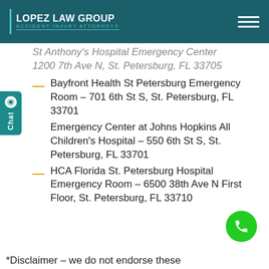LOPEZ LAW GROUP | ACCIDENT INJURY ATTORNEYS
St. Anthony's Hospital Emergency Center 1200 7th Ave N, St. Petersburg, FL 33705
Bayfront Health St Petersburg Emergency Room – 701 6th St S, St. Petersburg, FL 33701
Emergency Center at Johns Hopkins All Children's Hospital – 550 6th St S, St. Petersburg, FL 33701
HCA Florida St. Petersburg Hospital Emergency Room – 6500 38th Ave N First Floor, St. Petersburg, FL 33710
*Disclaimer – we do not endorse these